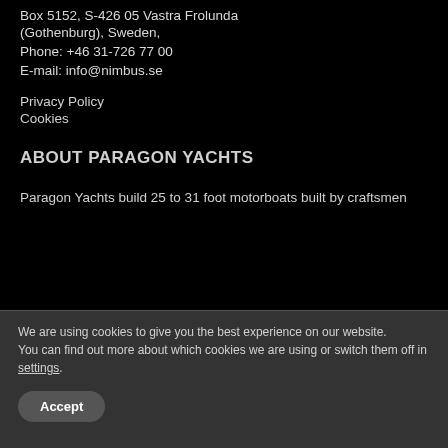Box 5152, S-426 05 Vastra Frolunda
(Gothenburg), Sweden,
Phone: +46 31-726 77 00
E-mail: info@nimbus.se
Privacy Policy
Cookies
ABOUT PARAGON YACHTS
Paragon Yachts build 25 to 31 foot motorboats built by craftsmen
We are using cookies to give you the best experience on our website.
You can find out more about which cookies we are using or switch them off in settings.
Accept